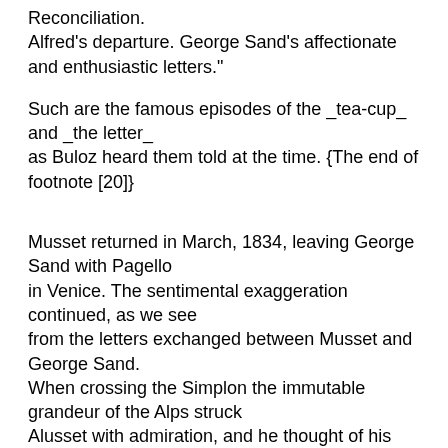Reconciliation.
Alfred's departure. George Sand's affectionate and enthusiastic letters."
Such are the famous episodes of the _tea-cup_ and _the letter_
as Buloz heard them told at the time. {The end of footnote [20]}
Musset returned in March, 1834, leaving George Sand with Pagello
in Venice. The sentimental exaggeration continued, as we see
from the letters exchanged between Musset and George Sand.
When crossing the Simplon the immutable grandeur of the Alps struck
Alusset with admiration, and he thought of his two "great friends."
His head was evidently turned by the heights from which he looked
at things. George Sand wrote to him: "I am not giving you any message from Pagello, except that he is almost as sad as I